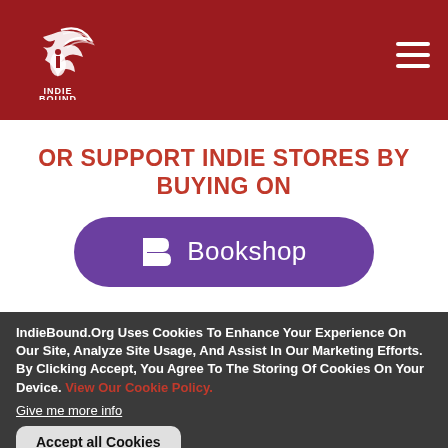[Figure (logo): IndieBound logo — stylized bird/book graphic with INDIE BOUND text below, on dark red background. Hamburger menu icon top right.]
OR SUPPORT INDIE STORES BY BUYING ON
[Figure (logo): Bookshop.org purple rounded rectangle button with Bookshop logo (stylized B) and text 'Bookshop']
IndieBound.Org Uses Cookies To Enhance Your Experience On Our Site, Analyze Site Usage, And Assist In Our Marketing Efforts. By Clicking Accept, You Agree To The Storing Of Cookies On Your Device. View Our Cookie Policy.
Give me more info
Accept all Cookies